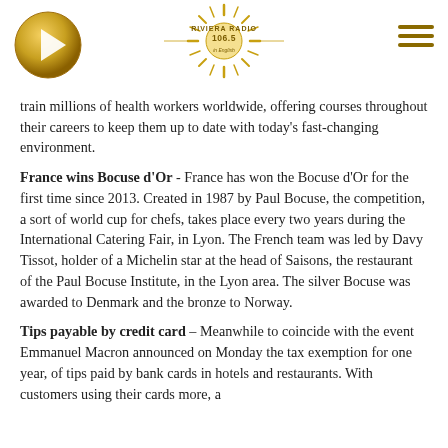Riviera Radio 106.5 in English
train millions of health workers worldwide, offering courses throughout their careers to keep them up to date with today's fast-changing environment.
France wins Bocuse d'Or - France has won the Bocuse d'Or for the first time since 2013. Created in 1987 by Paul Bocuse, the competition, a sort of world cup for chefs, takes place every two years during the International Catering Fair, in Lyon. The French team was led by Davy Tissot, holder of a Michelin star at the head of Saisons, the restaurant of the Paul Bocuse Institute, in the Lyon area. The silver Bocuse was awarded to Denmark and the bronze to Norway.
Tips payable by credit card – Meanwhile to coincide with the event Emmanuel Macron announced on Monday the tax exemption for one year, of tips paid by bank cards in hotels and restaurants. With customers using their cards more, a